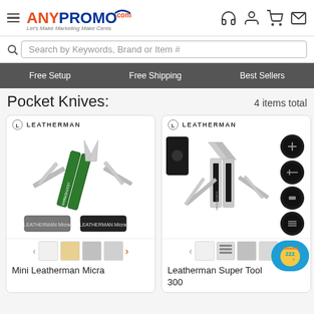[Figure (screenshot): AnyPromo.com website header with hamburger menu, logo, and navigation icons (headset, user, cart, mail)]
[Figure (screenshot): Search bar with text 'Search by Keywords, Brand or Item #']
Free Setup   Free Shipping   Best Sellers
Pocket Knives:
4 items total
[Figure (photo): Mini Leatherman Micra multi-tool product image with green handles, scissors open, various blades, and two color variants below]
Mini Leatherman Micra
[Figure (photo): Leatherman Super Tool 300 multi-tool with case, open showing all tools, and circular detail thumbnails on the right]
Leatherman Super Tool 300